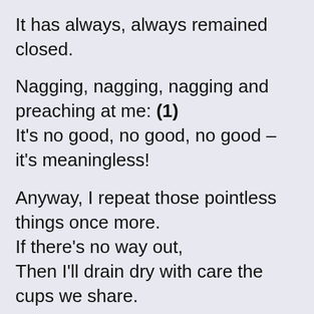It has always, always remained closed.
Nagging, nagging, nagging and preaching at me: (1)
It’s no good, no good, no good – it’s meaningless!
Anyway, I repeat those pointless things once more.
If there’s no way out,
Then I’ll drain dry with care the cups we share.
One who is kind to others
Is sure to be rewarded.